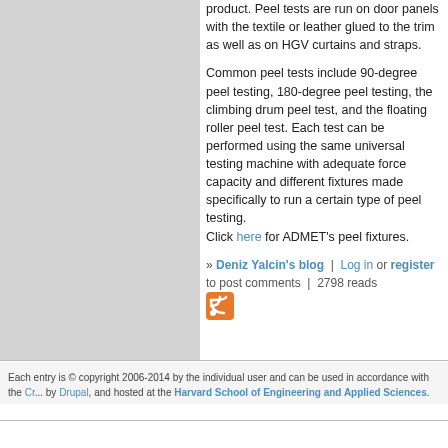product. Peel tests are run on door panels with the textile or leather glued to the trim as well as on HGV curtains and straps.
Common peel tests include 90-degree peel testing, 180-degree peel testing, the climbing drum peel test, and the floating roller peel test. Each test can be performed using the same universal testing machine with adequate force capacity and different fixtures made specifically to run a certain type of peel testing. Click here for ADMET’s peel fixtures.
» Deniz Yalcin's blog | Log in or register to post comments | 2798 reads
[Figure (other): RSS feed icon]
Each entry is © copyright 2006-2014 by the individual user and can be used in accordance with the Cr... by Drupal, and hosted at the Harvard School of Engineering and Applied Sciences.